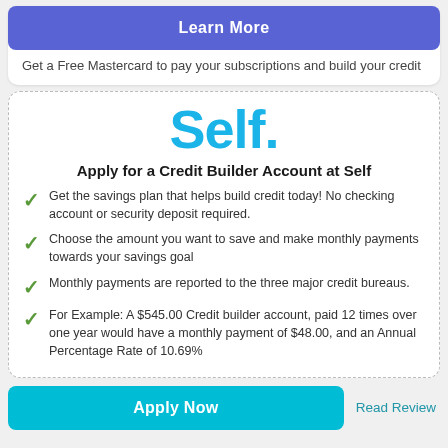Learn More
Get a Free Mastercard to pay your subscriptions and build your credit
[Figure (logo): Self. logo in large cyan/blue text]
Apply for a Credit Builder Account at Self
Get the savings plan that helps build credit today! No checking account or security deposit required.
Choose the amount you want to save and make monthly payments towards your savings goal
Monthly payments are reported to the three major credit bureaus.
For Example: A $545.00 Credit builder account, paid 12 times over one year would have a monthly payment of $48.00, and an Annual Percentage Rate of 10.69%
Apply Now
Read Review